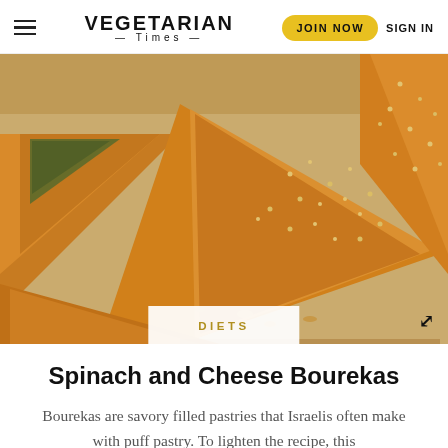VEGETARIAN TIMES | JOIN NOW | SIGN IN
[Figure (photo): Close-up photo of golden-brown triangular spinach and cheese bourekas (phyllo pastries) sprinkled with sesame seeds, arranged on parchment paper]
DIETS
Spinach and Cheese Bourekas
Bourekas are savory filled pastries that Israelis often make with puff pastry. To lighten the recipe, this